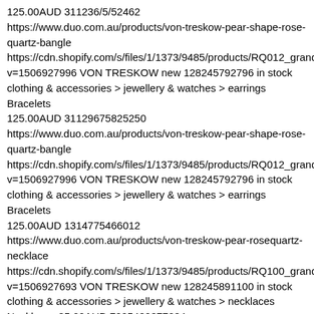125.00AUD 311236/5/52462 https://www.duo.com.au/products/von-treskow-pear-shape-rose-quartz-bangle https://cdn.shopify.com/s/files/1/1373/9485/products/RQ012_grande v=1506927996 VON TRESKOW new 128245792796 in stock clothing & accessories > jewellery & watches > earrings Bracelets 125.00AUD 31129675825250 https://www.duo.com.au/products/von-treskow-pear-shape-rose-quartz-bangle https://cdn.shopify.com/s/files/1/1373/9485/products/RQ012_grande v=1506927996 VON TRESKOW new 128245792796 in stock clothing & accessories > jewellery & watches > earrings Bracelets 125.00AUD 1314775466012 https://www.duo.com.au/products/von-treskow-pear-rosequartz-necklace https://cdn.shopify.com/s/files/1/1373/9485/products/RQ100_grande v=1506927693 VON TRESKOW new 128245891100 in stock clothing & accessories > jewellery & watches > necklaces Necklaces 85.00AUD 7095480877084 https://www.duo.com.au/products/von-treskow-gold-three-pence-necklace https://cdn.shopify.com/s/files/1/1373/9485/products/GFBC1-3_grande.jpg?v=1515660152 Von Treskow new 573522804764 in stock clothing & accessories > jewellery & watches > necklaces Necklaces 150.00AUD 7095828611100 https://www.duo.com.au/products/von-treskow-rose-gold-6-pence